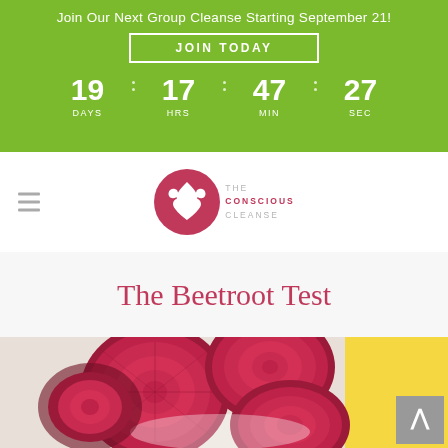Join Our Next Group Cleanse Starting September 21!
JOIN TODAY
19 DAYS  17 HRS  47 MIN  27 SEC
[Figure (logo): The Conscious Cleanse logo - circular pink/red emblem with leaf and heart, text THE CONSCIOUS CLEANSE]
The Beetroot Test
[Figure (photo): Close-up photo of sliced red beetroot pieces with cross-sections visible, white plate edge and yellow background visible on right side]